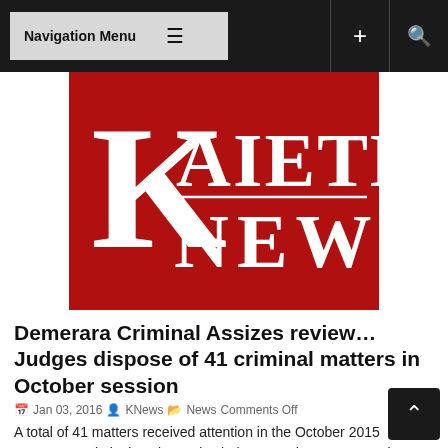Navigation Menu
[Figure (logo): Kaieteur News logo — white serif K with AIETEUR / NEWS text on a dark red background]
Demerara Criminal Assizes review…Judges dispose of 41 criminal matters in October session
Jan 03, 2016  KNews  News  Comments Off
A total of 41 matters received attention in the October 2015 Demerara Criminal Assizes. Five judges, Justice Jo-Ann Barlow, Justice Priya